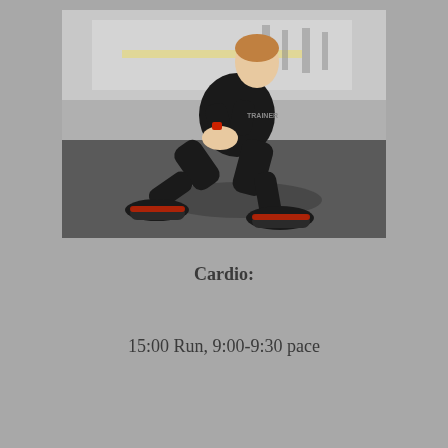[Figure (photo): A personal trainer wearing a black outfit and red sneakers performing a squat exercise in a gym, with hands clasped together in front of chest, viewed from the side.]
Cardio:
15:00 Run, 9:00-9:30 pace